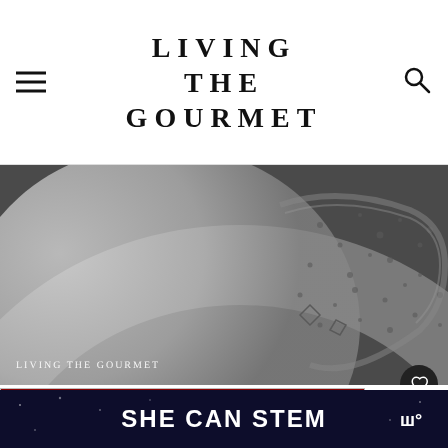LIVING THE GOURMET
[Figure (photo): Close-up of a decorative cast iron or hammered metal cookware rim with 'Living the Gourmet' text overlay at bottom left]
[Figure (photo): Advertisement showing fire department personnel (Olympia Fire Dept) standing in front of a fire truck, with an X close button in top right corner]
3
WHAT'S NEXT → French Lemon Tart
SHE CAN STEM